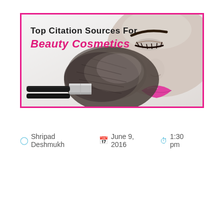[Figure (illustration): Banner image with pink border showing a woman's face with closed eyes and pink lips, a large makeup brush applying powder, with overlay text 'Top Citation Sources For Beauty Cosmetics' in black and pink.]
Shripad Deshmukh   June 9, 2016   1:30 pm